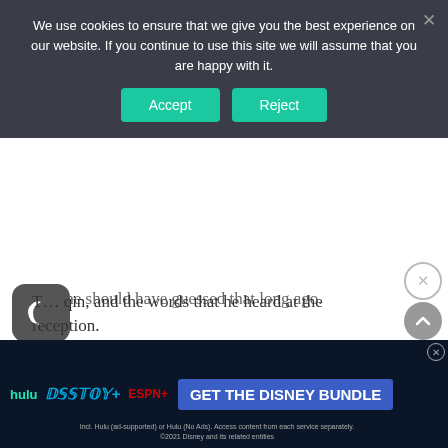We use cookies to ensure that we give you the best experience on our website. If you continue to use this site we will assume that you are happy with it.
Accept | Reject
Yes, he should have guessed that long ago.
He suddenly remembered yesterday at the Xia family reception.
[Figure (screenshot): Hulu Disney+ ESPN+ GET THE DISNEY BUNDLE advertisement banner with fine print about included services and 2021 Disney entities.]
T... qin, and the words that he heard at the reception.